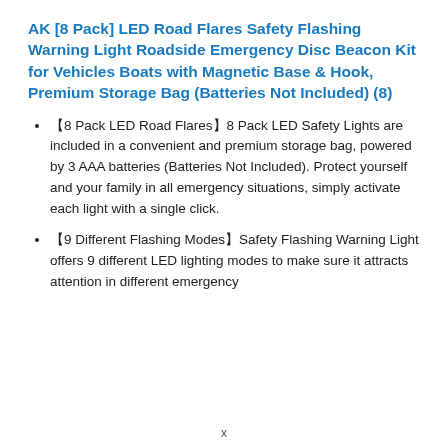AK [8 Pack] LED Road Flares Safety Flashing Warning Light Roadside Emergency Disc Beacon Kit for Vehicles Boats with Magnetic Base & Hook, Premium Storage Bag (Batteries Not Included) (8)
【8 Pack LED Road Flares】8 Pack LED Safety Lights are included in a convenient and premium storage bag, powered by 3 AAA batteries (Batteries Not Included). Protect yourself and your family in all emergency situations, simply activate each light with a single click.
【9 Different Flashing Modes】Safety Flashing Warning Light offers 9 different LED lighting modes to make sure it attracts attention in different emergency
x